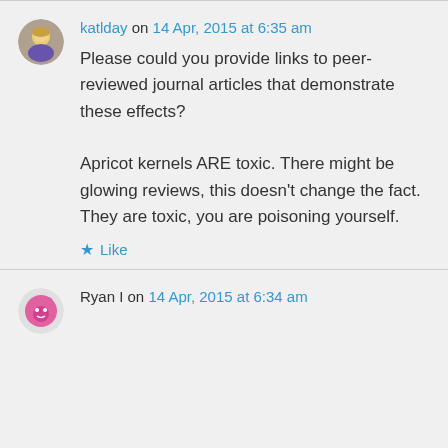katlday on 14 Apr, 2015 at 6:35 am
Please could you provide links to peer-reviewed journal articles that demonstrate these effects?

Apricot kernels ARE toxic. There might be glowing reviews, this doesn't change the fact. They are toxic, you are poisoning yourself.
Like
Ryan I on 14 Apr, 2015 at 6:34 am